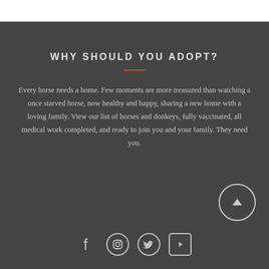WHY SHOULD YOU ADOPT?
Every horse needs a home. Few moments are more treasured than watching a once starved horse, now healthy and happy, sharing a new home with a loving family. View our list of horses and donkeys, fully vaccinated, all medical work completed, and ready to join you and your family. They need you.
[Figure (other): Social media icons: Facebook, Instagram, Twitter, YouTube]